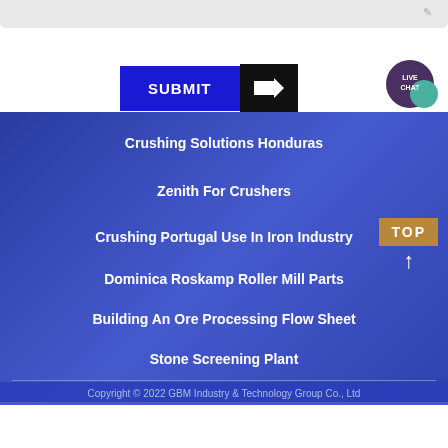[Figure (screenshot): Submit button with blue background and black arrow, plus live chat bubble icon in purple/teal]
Crushing Solutions Honduras
Zenith For Crushers
Crushing Portugal Use In Iron Industry
Dominica Roskamp Roller Mill Parts
Building An Ore Processing Flow Sheet
Stone Screening Plant
Copyright © 2022 GBM Industry & Technology Group Co., Ltd